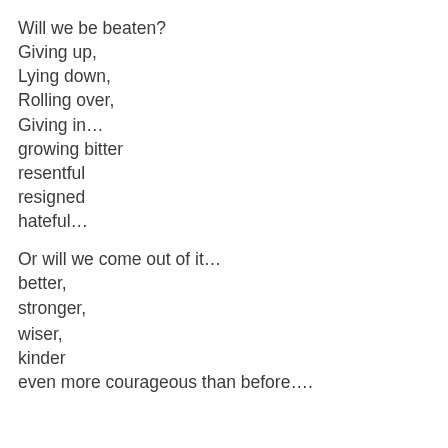Will we be beaten?
Giving up,
Lying down,
Rolling over,
Giving in…
growing bitter
resentful
resigned
hateful…

Or will we come out of it…
better,
stronger,
wiser,
kinder
even more courageous than before….